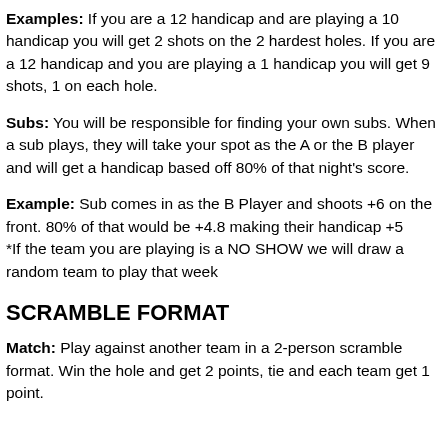Examples: If you are a 12 handicap and are playing a 10 handicap you will get 2 shots on the 2 hardest holes. If you are a 12 handicap and you are playing a 1 handicap you will get 9 shots, 1 on each hole.
Subs: You will be responsible for finding your own subs. When a sub plays, they will take your spot as the A or the B player and will get a handicap based off 80% of that night's score.
Example: Sub comes in as the B Player and shoots +6 on the front. 80% of that would be +4.8 making their handicap +5 *If the team you are playing is a NO SHOW we will draw a random team to play that week
SCRAMBLE FORMAT
Match: Play against another team in a 2-person scramble format. Win the hole and get 2 points, tie and each team get 1 point.